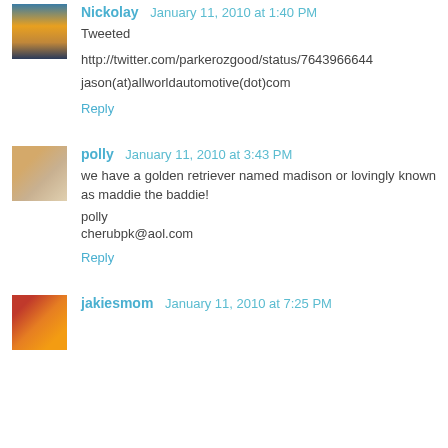Nickolay January 11, 2010 at 1:40 PM
Tweeted

http://twitter.com/parkerozgood/status/7643966644

jason(at)allworldautomotive(dot)com
Reply
polly January 11, 2010 at 3:43 PM
we have a golden retriever named madison or lovingly known as maddie the baddie!
polly
cherubpk@aol.com
Reply
jakiesmom January 11, 2010 at 7:25 PM